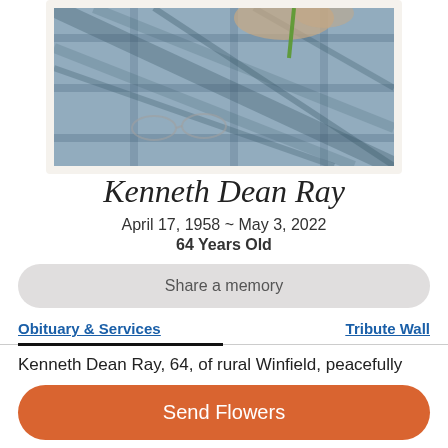[Figure (photo): Photo of Kenneth Dean Ray wearing a plaid blue shirt, partially cropped, shown inside a white frame]
Kenneth Dean Ray
April 17, 1958 ~ May 3, 2022
64 Years Old
Share a memory
Obituary & Services
Tribute Wall
Kenneth Dean Ray, 64, of rural Winfield, peacefully
Send Flowers